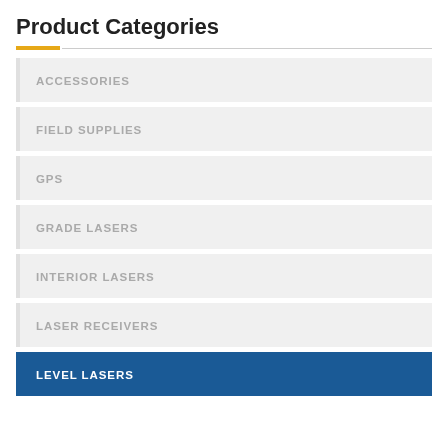Product Categories
ACCESSORIES
FIELD SUPPLIES
GPS
GRADE LASERS
INTERIOR LASERS
LASER RECEIVERS
LEVEL LASERS